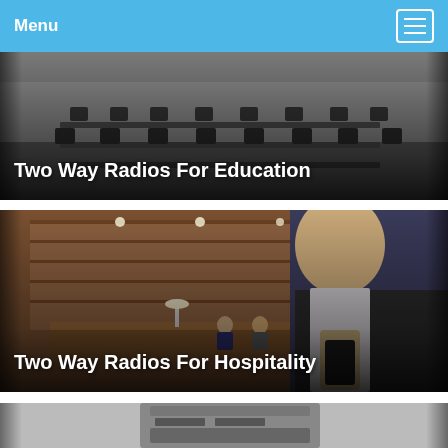Menu
[Figure (photo): Classroom interior with rows of chairs and desks, overhead lighting, dark tones. Text overlay: Two Way Radios For Education]
[Figure (photo): Man in suit holding a two-way radio in a hotel lobby/courtroom setting with wooden paneling and reception desk. Text overlay: Two Way Radios For Hospitality]
[Figure (photo): Partial view of a two-way radio device, cropped at bottom of page]